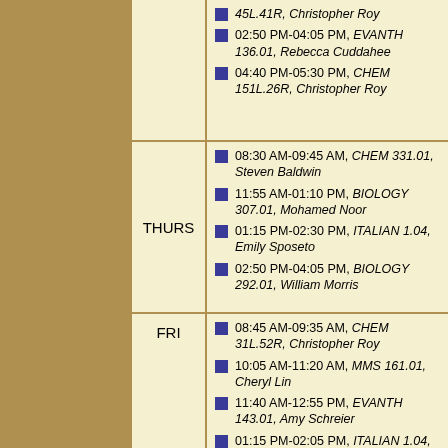| Day | Schedule |
| --- | --- |
| (partial) | 45L.41R, Christopher Roy
02:50 PM-04:05 PM, EVANTH 136.01, Rebecca Cuddahee
04:40 PM-05:30 PM, CHEM 151L.26R, Christopher Roy |
| THURS | 08:30 AM-09:45 AM, CHEM 331.01, Steven Baldwin
11:55 AM-01:10 PM, BIOLOGY 307.01, Mohamed Noor
01:15 PM-02:30 PM, ITALIAN 1.04, Emily Sposeto
02:50 PM-04:05 PM, BIOLOGY 292.01, William Morris |
| FRI | 08:45 AM-09:35 AM, CHEM 31L.52R, Christopher Roy
10:05 AM-11:20 AM, MMS 161.01, Cheryl Lin
11:40 AM-12:55 PM, EVANTH 143.01, Amy Schreier
01:15 PM-02:05 PM, ITALIAN 1.04, Emily Sposeto |